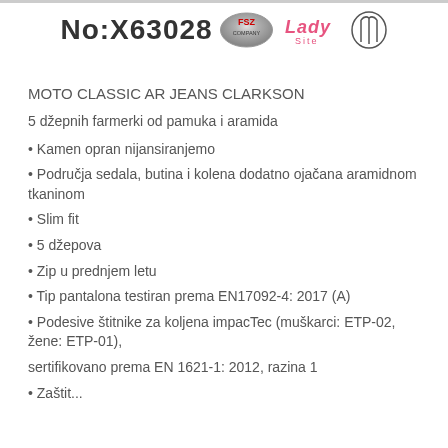No:X63028
MOTO CLASSIC AR JEANS CLARKSON
5 džepnih farmerki od pamuka i aramida
• Kamen opran nijansiranjemo
• Područja sedala, butina i kolena dodatno ojačana aramidnom tkaninom
• Slim fit
• 5 džepova
• Zip u prednjem letu
• Tip pantalona testiran prema EN17092-4: 2017 (A)
• Podesive štitnike za koljena impacTec (muškarci: ETP-02, žene: ETP-01),
sertifikovano prema EN 1621-1: 2012, razina 1